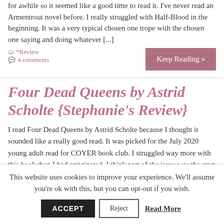for awhile so it seemed like a good time to read it. I've never read an Armentrout novel before. I really struggled with Half-Blood in the beginning. It was a very typical chosen one trope with the chosen one saying and doing whatever [...]
*Review   4 comments
Keep Reading »
Four Dead Queens by Astrid Scholte {Stephanie's Review}
I read Four Dead Queens by Astrid Scholte because I thought it sounded like a really good read. It was picked for the July 2020 young adult read for COYER book club. I struggled way more with this book than I had anticipated. I think part of the issue was the start and stop pacing. There would be a huge rush of events and then [...]
This website uses cookies to improve your experience. We'll assume you're ok with this, but you can opt-out if you wish.
ACCEPT   Reject   Read More